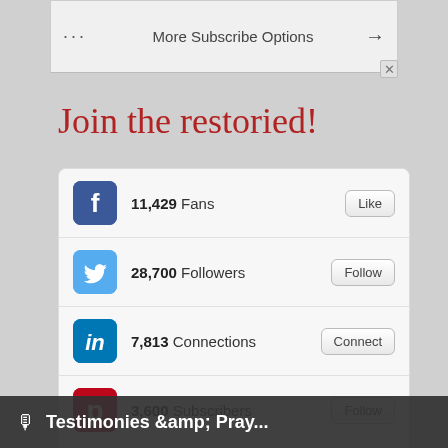[Figure (screenshot): Top navigation bar with dots menu, 'More Subscribe Options' text, and arrow]
Join the restoried!
| Icon | Count | Label | Action |
| --- | --- | --- | --- |
| Facebook | 11,429 | Fans | Like |
| Twitter | 28,700 | Followers | Follow |
| LinkedIn | 7,813 | Connections | Connect |
| Pinterest | 3,600 | Subscribers | Follow |
| Instagram | 10,500 | Followers | Follow |
| Podcast | 617 | Listeners | Subscribe |
| Download | 2,419,000 | Downloads | Download |
| YouTube | 11,909 | Subscribers | Subscribe |
Testimonies & Pray...